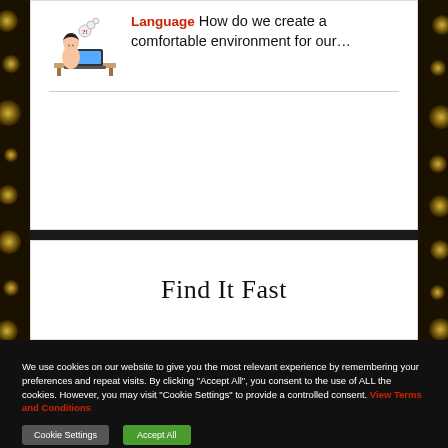[Figure (illustration): Cartoon illustration of a person at a desk with thought bubble showing language/communication confusion]
Language  How do we create a comfortable environment for our...
Find It Fast
We use cookies on our website to give you the most relevant experience by remembering your preferences and repeat visits. By clicking "Accept All", you consent to the use of ALL the cookies. However, you may visit "Cookie Settings" to provide a controlled consent. View Terms and Conditions